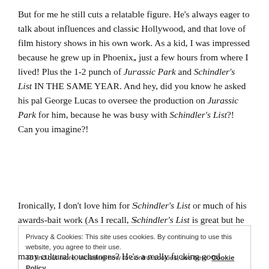But for me he still cuts a relatable figure. He's always eager to talk about influences and classic Hollywood, and that love of film history shows in his own work. As a kid, I was impressed because he grew up in Phoenix, just a few hours from where I lived! Plus the 1-2 punch of Jurassic Park and Schindler's List IN THE SAME YEAR. And hey, did you know he asked his pal George Lucas to oversee the production on Jurassic Park for him, because he was busy with Schindler's List?! Can you imagine?!
Ironically, I don't love him for Schindler's List or much of his awards-bait work (As I recall, Schindler's List is great but he
Privacy & Cookies: This site uses cookies. By continuing to use this website, you agree to their use.
To find out more, including how to control cookies, see here: Cookie Policy
many cultural touchstones? He's a really fucking good